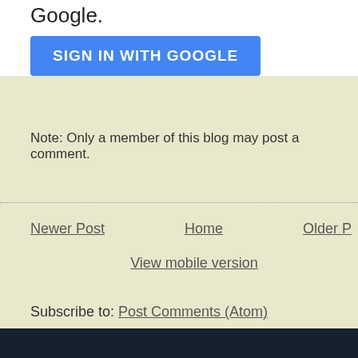Google.
SIGN IN WITH GOOGLE
Note: Only a member of this blog may post a comment.
Newer Post
Home
Older Post
View mobile version
Subscribe to: Post Comments (Atom)